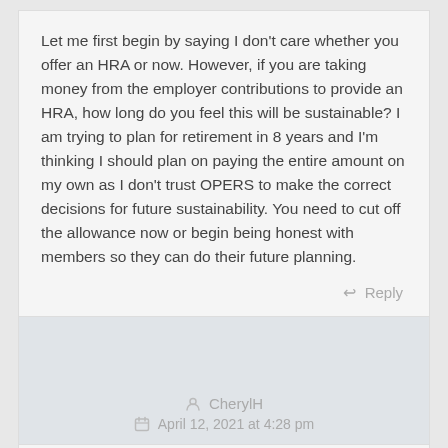Let me first begin by saying I don't care whether you offer an HRA or now. However, if you are taking money from the employer contributions to provide an HRA, how long do you feel this will be sustainable? I am trying to plan for retirement in 8 years and I'm thinking I should plan on paying the entire amount on my own as I don't trust OPERS to make the correct decisions for future sustainability. You need to cut off the allowance now or begin being honest with members so they can do their future planning.
Reply
CherylH
April 12, 2021 at 4:28 pm
When I was hired and opted into OPERS, I was told (by OPERS reps and my employer) that all of my